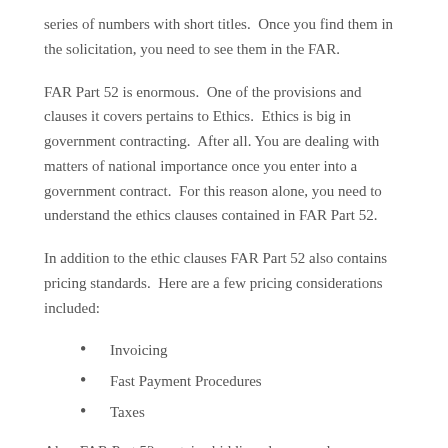series of numbers with short titles.  Once you find them in the solicitation, you need to see them in the FAR.
FAR Part 52 is enormous.  One of the provisions and clauses it covers pertains to Ethics.  Ethics is big in government contracting.  After all. You are dealing with matters of national importance once you enter into a government contract.  For this reason alone, you need to understand the ethics clauses contained in FAR Part 52.
In addition to the ethic clauses FAR Part 52 also contains pricing standards.  Here are a few pricing considerations included:
Invoicing
Fast Payment Procedures
Taxes
Also, FAR Part 52 contains bidding clauses and provisions.  As you